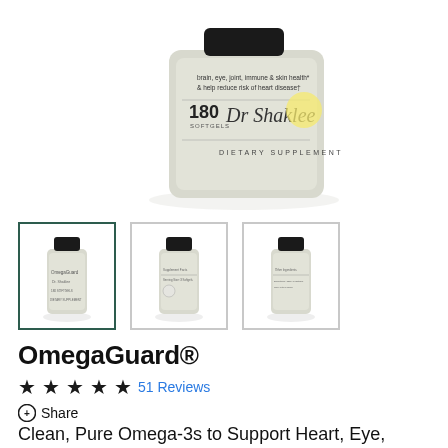[Figure (photo): Bottle of OmegaGuard dietary supplement showing 180 softgels label with Dr. Shaklee signature and text 'brain, eye, joint, immune & skin health & help reduce risk of heart disease']
[Figure (photo): Three thumbnail images of OmegaGuard supplement bottle from different angles — front, back-left, and back-right views]
OmegaGuard®
★★★★★ 51 Reviews
Share
Clean, Pure Omega-3s to Support Heart, Eye, Brain, and Joint Wellness*